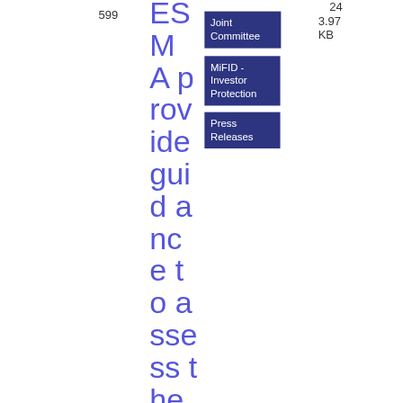599
ESM A provide guidance to assess the suitability of management body members and
Joint Committee
MiFID - Investor Protection
Press Releases
24
3.97 KB